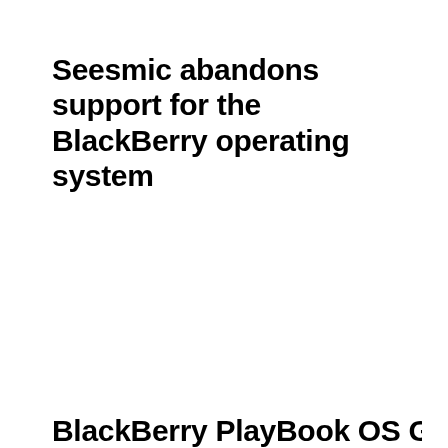Seesmic abandons support for the BlackBerry operating system
BlackBerry PlayBook OS Gets In